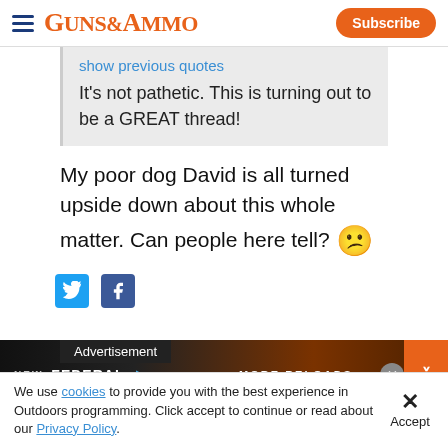GUNS&AMMO — Subscribe
show previous quotes
It's not pathetic. This is turning out to be a GREAT thread!
My poor dog David is all turned upside down about this whole matter. Can people here tell? 😕
[Figure (screenshot): Social sharing icons: Twitter (blue bird) and Facebook (blue F)]
Advertisement
[Figure (photo): Federal Ammunition advertisement banner: NEW FEDERAL logo with MORE RELOADS text on dark background with close and arrow buttons]
We use cookies to provide you with the best experience in Outdoors programming. Click accept to continue or read about our Privacy Policy.